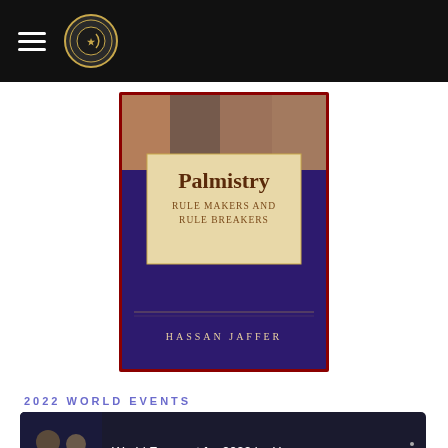Navigation bar with hamburger menu and logo
[Figure (illustration): Book cover: Palmistry Rule Makers and Rule Breakers by Hassan Jaffer. Purple/dark blue cover with a beige center panel showing the title in serif font. Top portion shows photographs of diverse people. Author name at bottom in gold letters.]
2022 WORLD EVENTS
[Figure (screenshot): YouTube video card with dark background showing thumbnail of two people and title 'World Forecast for 2022 by Has...' with three-dot menu icon on right.]